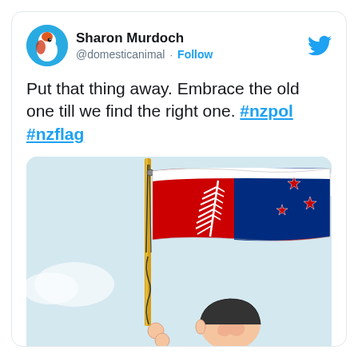[Figure (screenshot): Twitter/X profile header with avatar of a cartoon bird/animal character, display name Sharon Murdoch, handle @domesticanimal, Follow button, and Twitter bird icon]
Put that thing away. Embrace the old one till we find the right one. #nzpol #nzflag
[Figure (illustration): Political cartoon showing a flag on a pole — the proposed NZ flag (black/red/blue with silver fern and stars) being raised, with a cartoon character looking up at it]